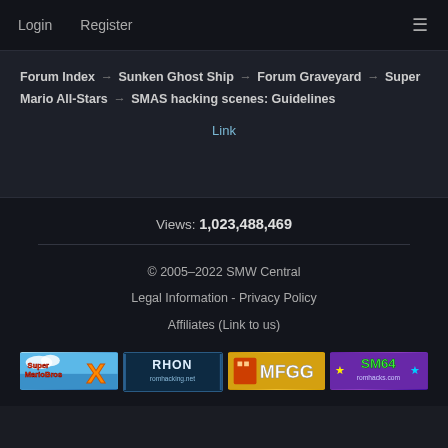Login  Register
Forum Index → Sunken Ghost Ship → Forum Graveyard → Super Mario All-Stars → SMAS hacking scenes: Guidelines
Link
Views: 1,023,488,469
© 2005–2022 SMW Central
Legal Information - Privacy Policy
Affiliates (Link to us)
[Figure (logo): Four affiliate banner logos: Super Mario Bros X, RHON romhacking.net, MFGG, SM64 romhacks.com]